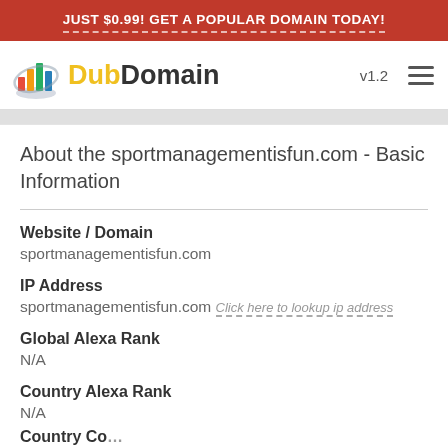JUST $0.99! GET A POPULAR DOMAIN TODAY!
[Figure (logo): DubDomain logo with colorful bar chart icon and text 'DubDomain', version v1.2, hamburger menu icon]
About the sportmanagementisfun.com - Basic Information
Website / Domain
sportmanagementisfun.com
IP Address
sportmanagementisfun.com Click here to lookup ip address
Global Alexa Rank
N/A
Country Alexa Rank
N/A